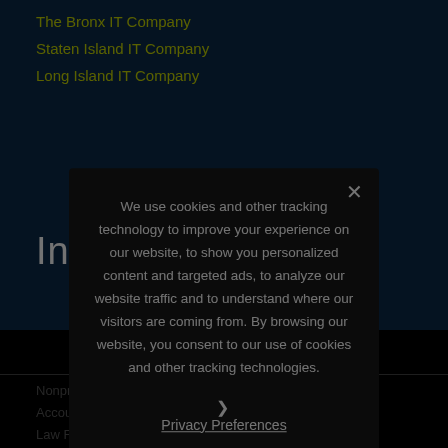The Bronx IT Company
Staten Island IT Company
Long Island IT Company
Industries
Nonprofit IT Support
Accounting & Payroll
Law Firm IT Support
Real Estate IT Support
Healthcare IT Support
IT Support for Architects
We use cookies and other tracking technology to improve your experience on our website, to show you personalized content and targeted ads, to analyze our website traffic and to understand where our visitors are coming from. By browsing our website, you consent to our use of cookies and other tracking technologies.
Privacy Preferences
I Agree
© 2022 Copyright - Omni IT Solutions, Dallas IT Support Company | IT Support | Powered by Pushgo M...